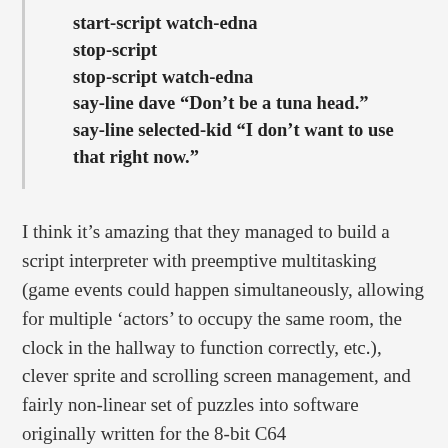start-script watch-edna
stop-script
stop-script watch-edna
say-line dave "Don't be a tuna head."
say-line selected-kid "I don't want to use that right now."
I think it's amazing that they managed to build a script interpreter with preemptive multitasking (game events could happen simultaneously, allowing for multiple 'actors' to occupy the same room, the clock in the hallway to function correctly, etc.), clever sprite and scrolling screen management, and fairly non-linear set of puzzles into software originally written for the 8-bit C64